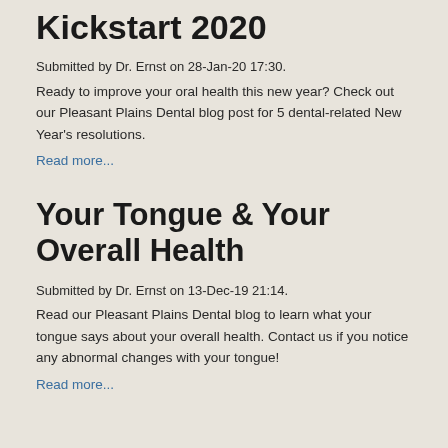Kickstart 2020
Submitted by Dr. Ernst on 28-Jan-20 17:30.
Ready to improve your oral health this new year? Check out our Pleasant Plains Dental blog post for 5 dental-related New Year's resolutions.
Read more...
Your Tongue & Your Overall Health
Submitted by Dr. Ernst on 13-Dec-19 21:14.
Read our Pleasant Plains Dental blog to learn what your tongue says about your overall health. Contact us if you notice any abnormal changes with your tongue!
Read more...